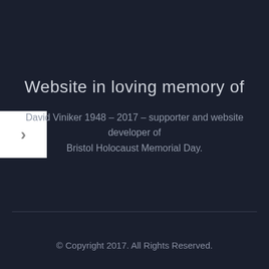Website in loving memory of
David Viniker 1948 – 2017 – supporter and website developer of Bristol Holocaust Memorial Day.
© Copyright 2017. All Rights Reserved.